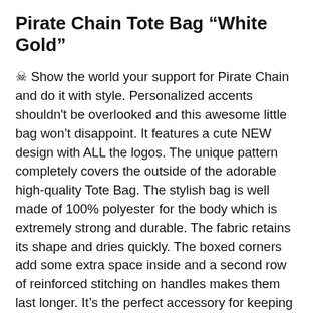Pirate Chain Tote Bag "White Gold"
☠ Show the world your support for Pirate Chain and do it with style. Personalized accents shouldn't be overlooked and this awesome little bag won't disappoint. It features a cute NEW design with ALL the logos. The unique pattern completely covers the outside of the adorable high-quality Tote Bag. The stylish bag is well made of 100% polyester for the body which is extremely strong and durable. The fabric retains its shape and dries quickly. The boxed corners add some extra space inside and a second row of reinforced stitching on handles makes them last longer. It's the perfect accessory for keeping your necessities safe and close at hand and is available in three sizes.